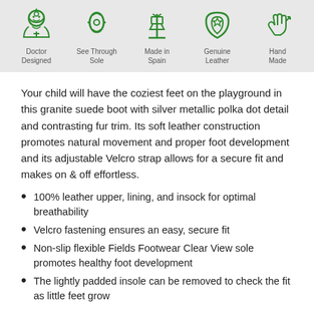[Figure (infographic): Five green icons with labels: Doctor Designed, See Through Sole, Made in Spain, Genuine Leather, Hand Made]
Your child will have the coziest feet on the playground in this granite suede boot with silver metallic polka dot detail and contrasting fur trim. Its soft leather construction promotes natural movement and proper foot development and its adjustable Velcro strap allows for a secure fit and makes on & off effortless.
100% leather upper, lining, and insock for optimal breathability
Velcro fastening ensures an easy, secure fit
Non-slip flexible Fields Footwear Clear View sole promotes healthy foot development
The lightly padded insole can be removed to check the fit as little feet grow